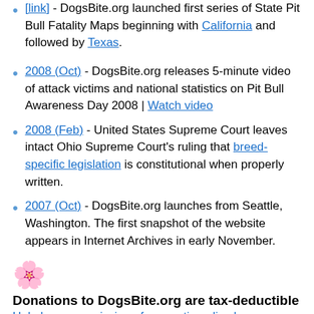[link truncated at top] - DogsBite.org launched first series of State Pit Bull Fatality Maps beginning with California and followed by Texas.
2008 (Oct) - DogsBite.org releases 5-minute video of attack victims and national statistics on Pit Bull Awareness Day 2008 | Watch video
2008 (Feb) - United States Supreme Court leaves intact Ohio Supreme Court's ruling that breed-specific legislation is constitutional when properly written.
2007 (Oct) - DogsBite.org launches from Seattle, Washington. The first snapshot of the website appears in Internet Archives in early November.
[Figure (illustration): Sunflower emoji icon]
Donations to DogsBite.org are tax-deductible
Help keep our mission of prevention alive by